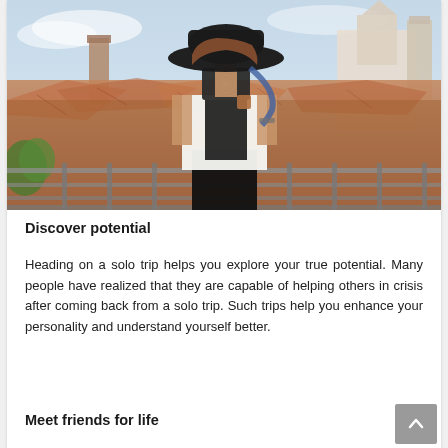[Figure (photo): A woman wearing a wide-brimmed black hat and white shirt holding a camera up to her face, photographing from a rooftop balcony with a European city skyline of terracotta rooftops and a white church/cathedral in the background. There is a metal railing fence in front of her.]
Discover potential
Heading on a solo trip helps you explore your true potential. Many people have realized that they are capable of helping others in crisis after coming back from a solo trip. Such trips help you enhance your personality and understand yourself better.
Meet friends for life